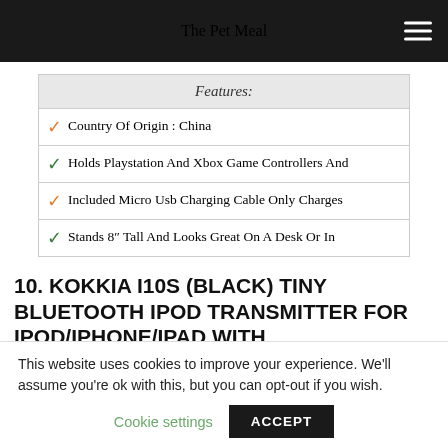The Pet Meal
| Features: |
| --- |
| Country Of Origin : China |
| Holds Playstation And Xbox Game Controllers And |
| Included Micro Usb Charging Cable Only Charges |
| Stands 8" Tall And Looks Great On A Desk Or In |
10. KOKKIA I10S (BLACK) TINY BLUETOOTH IPOD TRANSMITTER FOR IPOD/IPHONE/IPAD WITH
This website uses cookies to improve your experience. We'll assume you're ok with this, but you can opt-out if you wish.
Cookie settings  ACCEPT